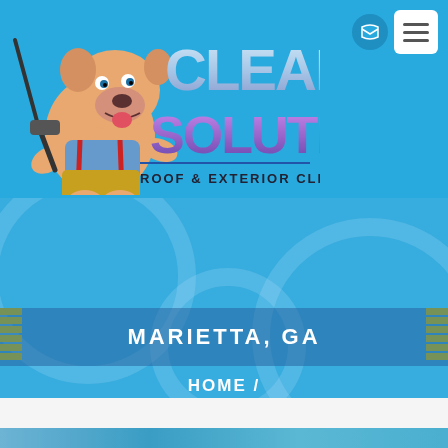[Figure (logo): Clean Solutions Roof & Exterior Cleaning logo featuring a cartoon bulldog holding a pressure washer with 'CLEAN SOLUTIONS' text in chrome/purple and 'ROOF & EXTERIOR CLEANING' subtitle]
MARIETTA, GA
HOME /